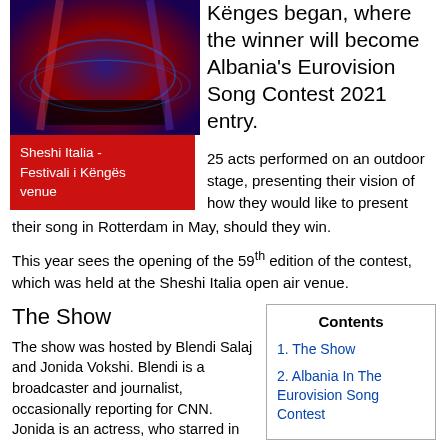[Figure (photo): Stage venue photo of Sheshi Italia showing blue/red stage lighting with circular platform]
Sheshi Italia - Festivali i Këngës venue
Kënges began, where the winner will become Albania's Eurovision Song Contest 2021 entry.
25 acts performed on an outdoor stage, presenting their vision of how they would like to present their song in Rotterdam in May, should they win.
This year sees the opening of the 59th edition of the contest, which was held at the Sheshi Italia open air venue.
The Show
The show was hosted by Blendi Salaj and Jonida Vokshi. Blendi is a broadcaster and journalist, occasionally reporting for CNN. Jonida is an actress, who starred in
| Contents |
| --- |
| 1. The Show |
| 2. Albania In The Eurovision Song Contest |